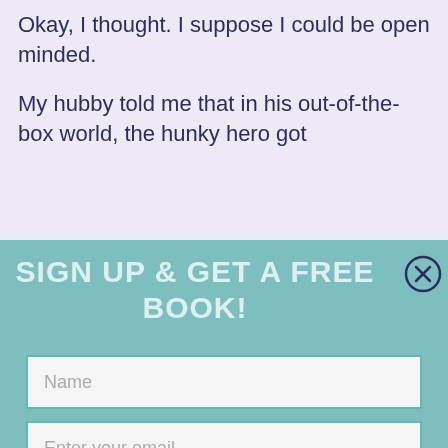Okay, I thought. I suppose I could be open minded.
My hubby told me that in his out-of-the-box world, the hunky hero got
SIGN UP & GET A FREE BOOK!
Name
Enter your email...